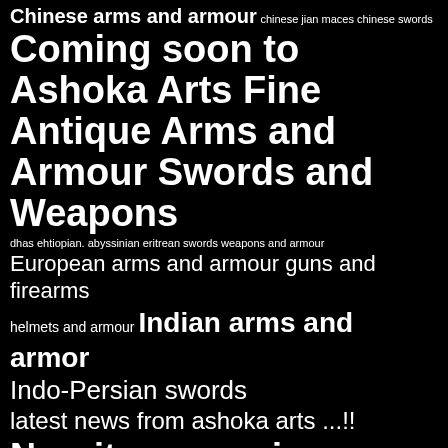Chinese arms and armour chinese jian maces chinese swords
Coming soon to Ashoka Arts Fine Antique Arms and Armour Swords and Weapons
dhas ehtiopian. abyssinian eritrean swords weapons and armour
European arms and armour guns and firearms
helmets and armour Indian arms and armor
Indo-Persian swords
latest news from ashoka arts ...!!
New items coming soon...
North African and Islamic swords and weapons
oriental arms Persian arms and armour
persian damascus spearhead persian jarid set with throwing dart and scabbard
philippine and moro swords and weapons
polearms and spears qing weapons arms and armour